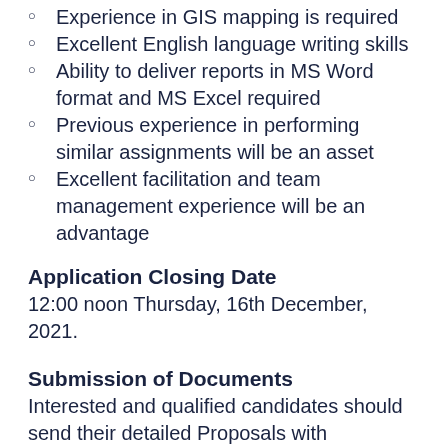Experience in GIS mapping is required
Excellent English language writing skills
Ability to deliver reports in MS Word format and MS Excel required
Previous experience in performing similar assignments will be an asset
Excellent facilitation and team management experience will be an advantage
Application Closing Date
12:00 noon Thursday, 16th December, 2021.
Submission of Documents
Interested and qualified candidates should send their detailed Proposals with requested documents to the address below:
Attention: